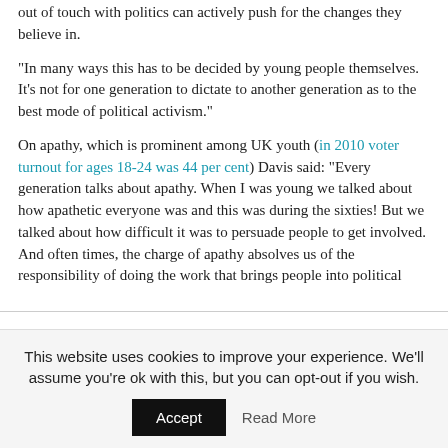out of touch with politics can actively push for the changes they believe in.
“In many ways this has to be decided by young people themselves. It’s not for one generation to dictate to another generation as to the best mode of political activism.”
On apathy, which is prominent among UK youth (in 2010 voter turnout for ages 18-24 was 44 per cent) Davis said: “Every generation talks about apathy. When I was young we talked about how apathetic everyone was and this was during the sixties! But we talked about how difficult it was to persuade people to get involved. And often times, the charge of apathy absolves us of the responsibility of doing the work that brings people into political
This website uses cookies to improve your experience. We’ll assume you’re ok with this, but you can opt-out if you wish.
Accept    Read More